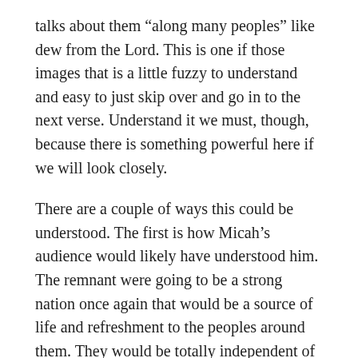talks about them “along many peoples” like dew from the Lord. This is one if those images that is a little fuzzy to understand and easy to just skip over and go in to the next verse. Understand it we must, though, because there is something powerful here if we will look closely.
There are a couple of ways this could be understood. The first is how Micah’s audience would likely have understood him. The remnant were going to be a strong nation once again that would be a source of life and refreshment to the peoples around them. They would be totally independent of any external rulers or laws. By their example they would lead. That’s the idea of the last part of the verse. God would make them in this way a blessing